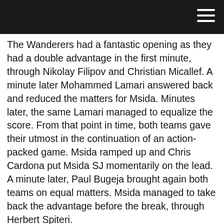The Wanderers had a fantastic opening as they had a double advantage in the first minute, through Nikolay Filipov and Christian Micallef. A minute later Mohammed Lamari answered back and reduced the matters for Msida. Minutes later, the same Lamari managed to equalize the score. From that point in time, both teams gave their utmost in the continuation of an action-packed game. Msida ramped up and Chris Cardona put Msida SJ momentarily on the lead. A minute later, Paul Bugeja brought again both teams on equal matters. Msida managed to take back the advantage before the break, through Herbert Spiteri.
In the opening seconds of the second half, Sliema’s player and coach Aleksander Ribic restored the equaliser for Sliema. After a long period of time, it was Ribic again who put the ball at the back of the net and filled his fellow players with confidence. Sliema’s Radovan Duric scored and almost sealed the issue. Nine seconds from the final whistle, Ryan Xuereb reduced the